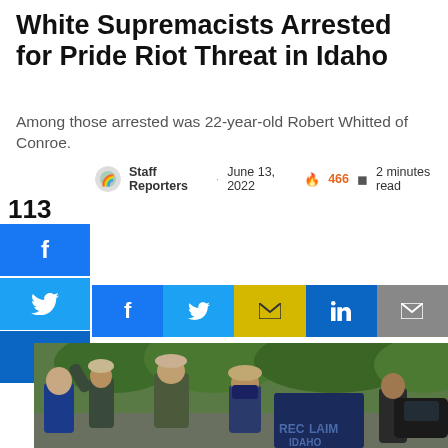White Supremacists Arrested for Pride Riot Threat in Idaho
Among those arrested was 22-year-old Robert Whitted of Conroe.
Staff Reporters · June 13, 2022 🔥 466 📖 2 minutes read
113 SHARES
[Figure (photo): Police arresting individuals in tactical gear; one person has 'RECLAIM' on the back of their shirt.]